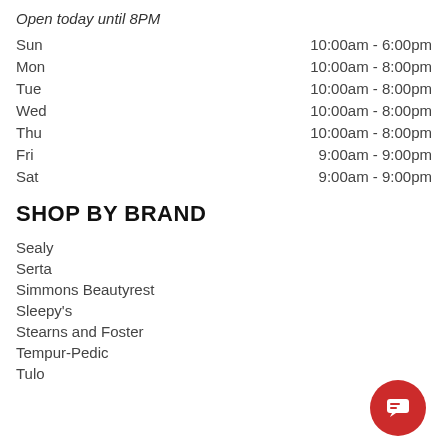Open today until 8PM
| Day | Hours |
| --- | --- |
| Sun | 10:00am - 6:00pm |
| Mon | 10:00am - 8:00pm |
| Tue | 10:00am - 8:00pm |
| Wed | 10:00am - 8:00pm |
| Thu | 10:00am - 8:00pm |
| Fri | 9:00am - 9:00pm |
| Sat | 9:00am - 9:00pm |
SHOP BY BRAND
Sealy
Serta
Simmons Beautyrest
Sleepy's
Stearns and Foster
Tempur-Pedic
Tulo
[Figure (illustration): Red circular chat button with speech bubble icon]